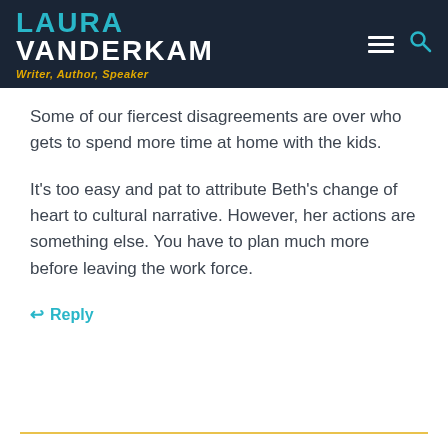LAURA VANDERKAM - Writer, Author, Speaker
Some of our fiercest disagreements are over who gets to spend more time at home with the kids.
It's too easy and pat to attribute Beth's change of heart to cultural narrative. However, her actions are something else. You have to plan much more before leaving the work force.
Reply